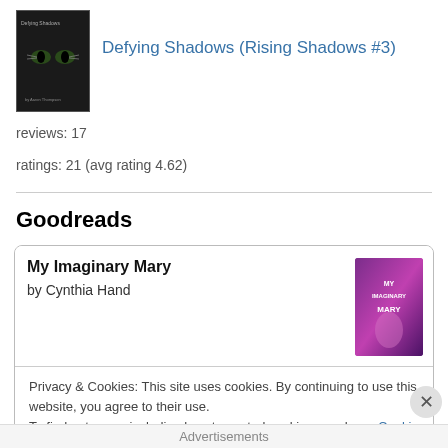[Figure (illustration): Book cover for Defying Shadows, dark background with cat eyes]
Defying Shadows (Rising Shadows #3)
reviews: 17
ratings: 21 (avg rating 4.62)
Goodreads
My Imaginary Mary
by Cynthia Hand
Privacy & Cookies: This site uses cookies. By continuing to use this website, you agree to their use.
To find out more, including how to control cookies, see here: Cookie Policy
Close and accept
Advertisements